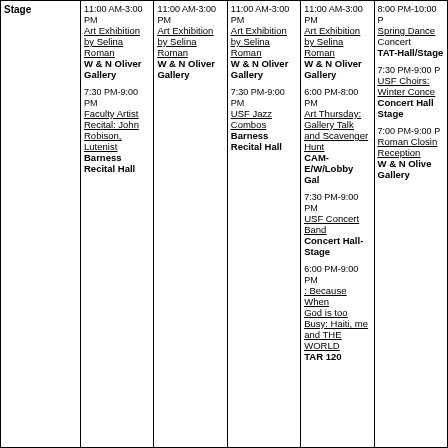| Stage | Col1 | Col2 | Col3 | Col4 | Col5 |
| --- | --- | --- | --- | --- | --- |
| Stage | 11:00 AM-3:00 PM Art Exhibition by Selina Roman W & N Oliver Gallery | 7:30 PM-9:00 PM Faculty Artist Recital: John Robison, Lutenist Barness Recital Hall | 11:00 AM-3:00 PM Art Exhibition by Selina Roman W & N Oliver Gallery | 11:00 AM-3:00 PM Art Exhibition by Selina Roman W & N Oliver Gallery | 7:30 PM-9:00 PM USF Jazz Combos Barness Recital Hall | 11:00 AM-3:00 PM Art Exhibition by Selina Roman W & N Oliver Gallery | 6:00 PM-8:00 PM Art Thursday: Gallery Talk and Scavenger Hunt CAM-E/W/Lobby Gal | 7:30 PM-9:00 PM USF Concert Band Concert Hall-Stage | 6:00 PM-9:00 PM : Because When God is too Busy: Haiti, me and THE WORLD TAR 120 | 8:00 PM-10:00 PM Spring Dance Concert TAT-Hall/Stage | 7:30 PM-9:00 PM USF Choirs: Winter Concert Hall Stage | 7:00 PM-9:00 PM Roman Closing Reception W & N Oliver Gallery |